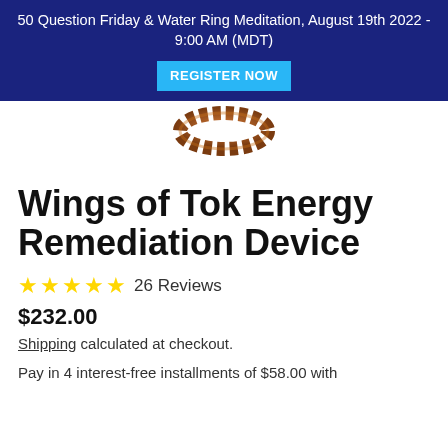50 Question Friday & Water Ring Meditation, August 19th 2022 - 9:00 AM (MDT) REGISTER NOW
[Figure (photo): Partial view of a copper-colored twisted rope ring or torus object on white background]
Wings of Tok Energy Remediation Device
★★★★★ 26 Reviews
$232.00
Shipping calculated at checkout.
Pay in 4 interest-free installments of $58.00 with